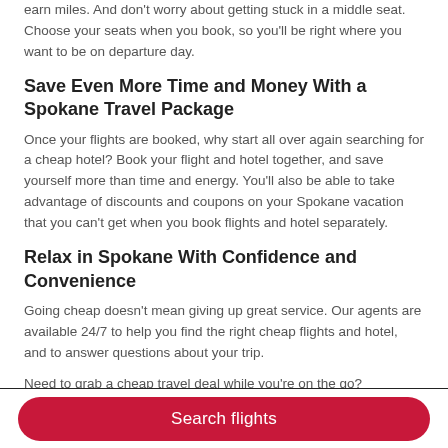earn miles. And don't worry about getting stuck in a middle seat. Choose your seats when you book, so you'll be right where you want to be on departure day.
Save Even More Time and Money With a Spokane Travel Package
Once your flights are booked, why start all over again searching for a cheap hotel? Book your flight and hotel together, and save yourself more than time and energy. You'll also be able to take advantage of discounts and coupons on your Spokane vacation that you can't get when you book flights and hotel separately.
Relax in Spokane With Confidence and Convenience
Going cheap doesn't mean giving up great service. Our agents are available 24/7 to help you find the right cheap flights and hotel, and to answer questions about your trip.
Need to grab a cheap travel deal while you're on the go?
Search flights